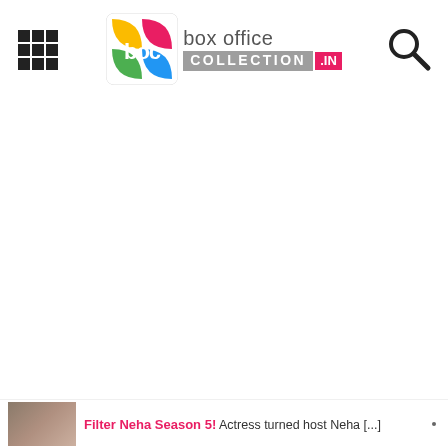box office collection .IN
[Figure (logo): Box Office Collection .IN logo with colorful boc icon and text]
[Figure (other): Red circle with X close button icon]
Filter Neha Season 5! Actress turned host Neha [...]